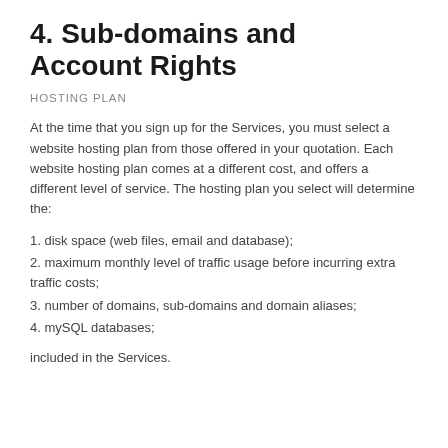4. Sub-domains and Account Rights
HOSTING PLAN
At the time that you sign up for the Services, you must select a website hosting plan from those offered in your quotation. Each website hosting plan comes at a different cost, and offers a different level of service. The hosting plan you select will determine the:
1. disk space (web files, email and database);
2. maximum monthly level of traffic usage before incurring extra traffic costs;
3. number of domains, sub-domains and domain aliases;
4. mySQL databases;
included in the Services.